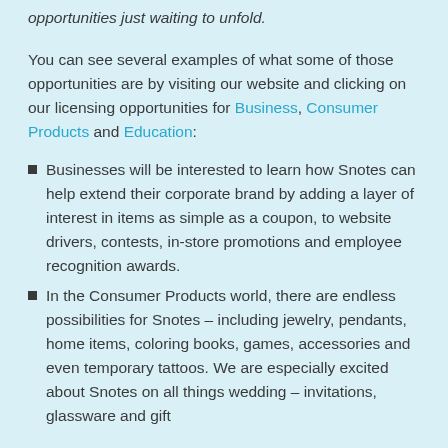opportunities just waiting to unfold.
You can see several examples of what some of those opportunities are by visiting our website and clicking on our licensing opportunities for Business, Consumer Products and Education:
Businesses will be interested to learn how Snotes can help extend their corporate brand by adding a layer of interest in items as simple as a coupon, to website drivers, contests, in-store promotions and employee recognition awards.
In the Consumer Products world, there are endless possibilities for Snotes – including jewelry, pendants, home items, coloring books, games, accessories and even temporary tattoos. We are especially excited about Snotes on all things wedding – invitations, glassware and gift items. Our Snotes also feature...